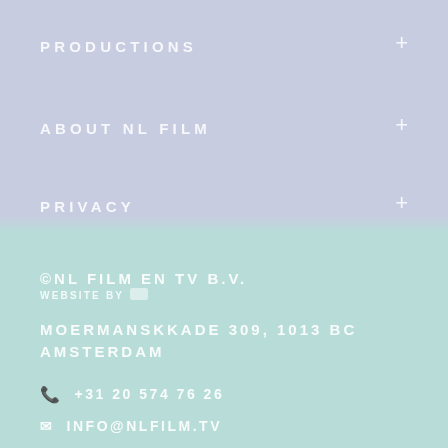PRODUCTIONS
ABOUT NL FILM
PRIVACY
©NL FILM EN TV B.V.
WEBSITE BY
MOERMANSKKADE 309, 1013 BC AMSTERDAM
+31 20 574 76 26
INFO@NLFILM.TV